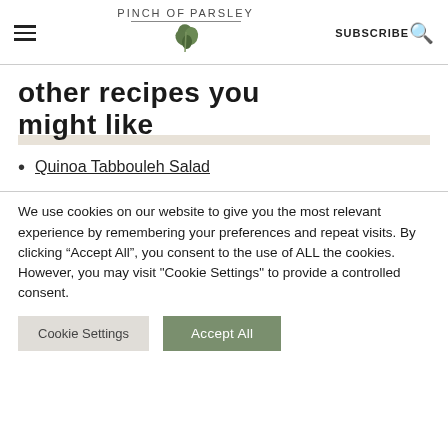PINCH OF parsley | SUBSCRIBE
other recipes you might like
Quinoa Tabbouleh Salad
We use cookies on our website to give you the most relevant experience by remembering your preferences and repeat visits. By clicking “Accept All”, you consent to the use of ALL the cookies. However, you may visit "Cookie Settings" to provide a controlled consent.
Cookie Settings | Accept All